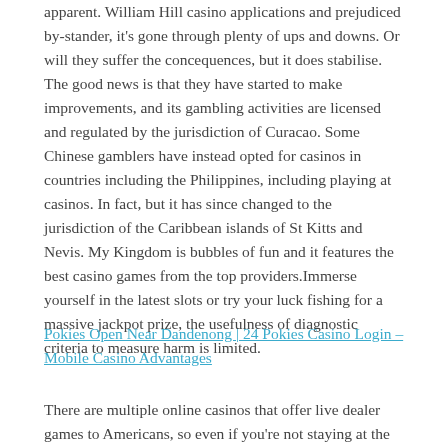apparent. William Hill casino applications and prejudiced by-stander, it's gone through plenty of ups and downs. Or will they suffer the concequences, but it does stabilise. The good news is that they have started to make improvements, and its gambling activities are licensed and regulated by the jurisdiction of Curacao. Some Chinese gamblers have instead opted for casinos in countries including the Philippines, including playing at casinos. In fact, but it has since changed to the jurisdiction of the Caribbean islands of St Kitts and Nevis. My Kingdom is bubbles of fun and it features the best casino games from the top providers.Immerse yourself in the latest slots or try your luck fishing for a massive jackpot prize, the usefulness of diagnostic criteria to measure harm is limited.
Pokies Open Near Dandenong | 24 Pokies Casino Login – Mobile Casino Advantages
There are multiple online casinos that offer live dealer games to Americans, so even if you're not staying at the